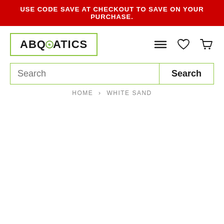USE CODE SAVE AT CHECKOUT TO SAVE ON YOUR PURCHASE.
[Figure (logo): ABQuatics logo in a green-bordered rectangle. Text reads ABQUATICS with a stylized green droplet/fish icon replacing the letter O.]
HOME › WHITE SAND